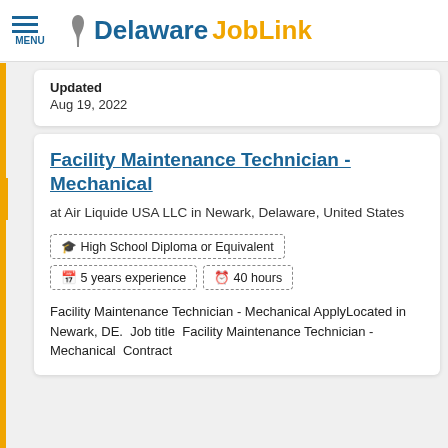MENU | Delaware JobLink
Updated
Aug 19, 2022
Facility Maintenance Technician -Mechanical
at Air Liquide USA LLC in Newark, Delaware, United States
High School Diploma or Equivalent | 5 years experience | 40 hours
Facility Maintenance Technician - Mechanical ApplyLocated in Newark, DE.  Job title  Facility Maintenance Technician - Mechanical  Contract